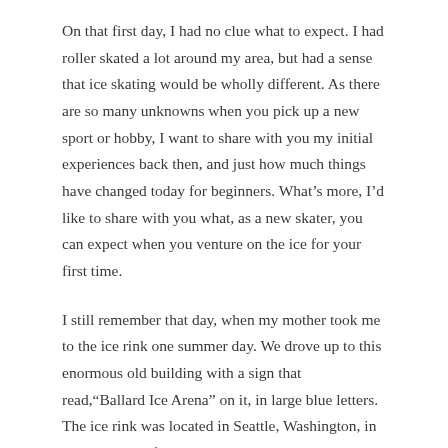On that first day, I had no clue what to expect. I had roller skated a lot around my area, but had a sense that ice skating would be wholly different. As there are so many unknowns when you pick up a new sport or hobby, I want to share with you my initial experiences back then, and just how much things have changed today for beginners. What's more, I'd like to share with you what, as a new skater, you can expect when you venture on the ice for your first time.
I still remember that day, when my mother took me to the ice rink one summer day. We drove up to this enormous old building with a sign that read,"Ballard Ice Arena" on it, in large blue letters. The ice rink was located in Seattle, Washington, in an older part of town, so the building had that old classic look you would expect from Rocky films. As we opened the door, I remember looking into a gloomy reception and being unimpressed. It looked so much older on the inside of the